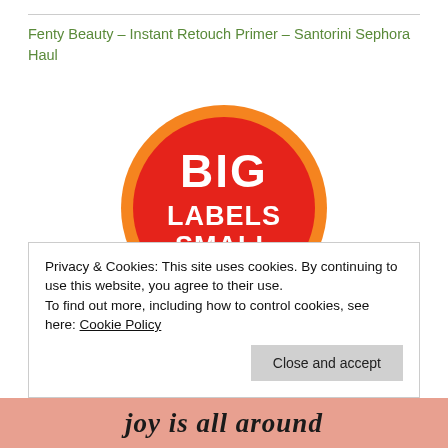Fenty Beauty – Instant Retouch Primer – Santorini Sephora Haul
[Figure (logo): Big Labels Small Prices circular logo — orange outer ring with red fill, white bold text reading BIG LABELS SMALL PRICES]
Privacy & Cookies: This site uses cookies. By continuing to use this website, you agree to their use.
To find out more, including how to control cookies, see here: Cookie Policy
Close and accept
joy is all around